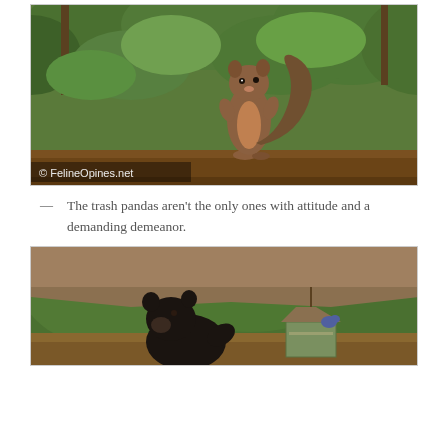[Figure (photo): A squirrel standing upright on a wooden railing with green trees in the background. Watermark reads '© FelineOpines.net']
— The trash pandas aren't the only ones with attitude and a demanding demeanor.
[Figure (photo): A black bear near a bird feeder on a wooden deck with green forest in background]